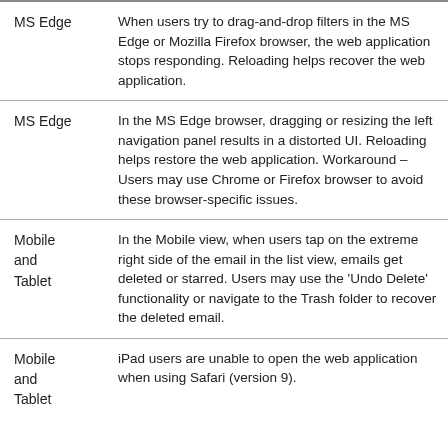|  |  |
| --- | --- |
| MS Edge | When users try to drag-and-drop filters in the MS Edge or Mozilla Firefox browser, the web application stops responding. Reloading helps recover the web application. |
| MS Edge | In the MS Edge browser, dragging or resizing the left navigation panel results in a distorted UI. Reloading helps restore the web application. Workaround – Users may use Chrome or Firefox browser to avoid these browser-specific issues. |
| Mobile and Tablet | In the Mobile view, when users tap on the extreme right side of the email in the list view, emails get deleted or starred. Users may use the 'Undo Delete' functionality or navigate to the Trash folder to recover the deleted email. |
| Mobile and Tablet | iPad users are unable to open the web application when using Safari (version 9). |